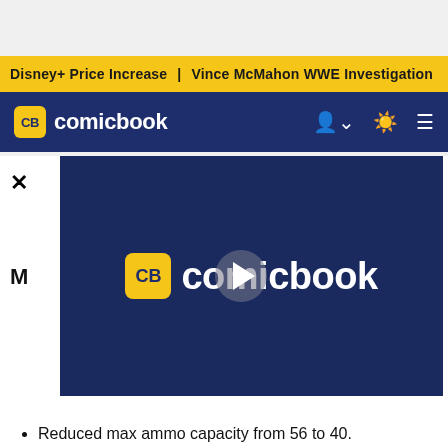Disney+ Price Increase | Vince McMahon WWE Investigation
[Figure (screenshot): Comicbook.com navigation bar with yellow CB badge logo and white 'comicbook' text on dark blue background, with user, brightness, and menu icons on the right]
✕
[Figure (screenshot): Comicbook.com video player with dark blue background showing the CB comicbook logo with a play button overlay circle in the center]
Reduced max ammo capacity from 56 to 40.
Ravager